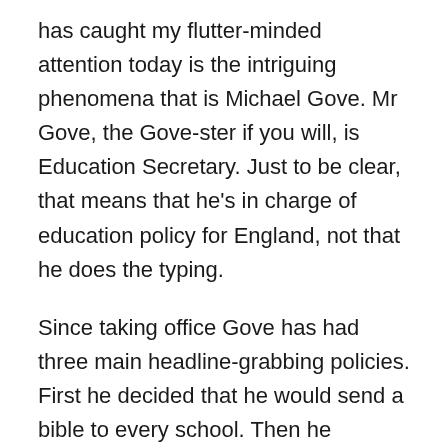has caught my flutter-minded attention today is the intriguing phenomena that is Michael Gove. Mr Gove, the Gove-ster if you will, is Education Secretary. Just to be clear, that means that he's in charge of education policy for England, not that he does the typing.
Since taking office Gove has had three main headline-grabbing policies. First he decided that he would send a bible to every school. Then he decided that GCSEs were too easy and he wants the young people of today to do proper old-fashioned manly academic exams instead. Today, he's decided that A-levels, in their current form, are too easy and he wants the young people of today to do proper old-fashioned manly academic exams instead. And yes, I do see that technically, that's only two policies, and the first one of those is just silly